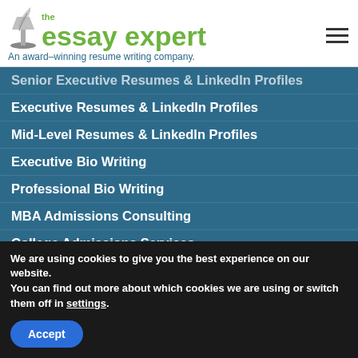the essay expert — An award–winning resume writing company.
Senior Executive Resumes & LinkedIn Profiles
Executive Resumes & LinkedIn Profiles
Mid-Level Resumes & LinkedIn Profiles
Executive Bio Writing
Professional Bio Writing
MBA Admissions Consulting
College Admissions Services
Business Writing
Custom Services
We are using cookies to give you the best experience on our website.
You can find out more about which cookies we are using or switch them off in settings.
Accept